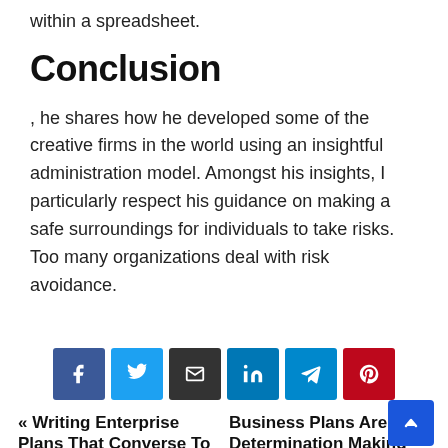within a spreadsheet.
Conclusion
, he shares how he developed some of the creative firms in the world using an insightful administration model. Amongst his insights, I particularly respect his guidance on making a safe surroundings for individuals to take risks. Too many organizations deal with risk avoidance.
[Figure (infographic): Social sharing buttons: Facebook (blue), Twitter (light blue), Email (dark), LinkedIn (teal), Telegram (blue), Pinterest (red)]
« Writing Enterprise Plans That Converse To
Business Plans Are Determination Making Tools »